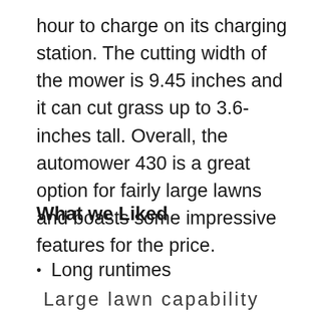hour to charge on its charging station. The cutting width of the mower is 9.45 inches and it can cut grass up to 3.6-inches tall. Overall, the automower 430 is a great option for fairly large lawns and boasts some impressive features for the price.
What we Liked
Long runtimes
Large lawn capability